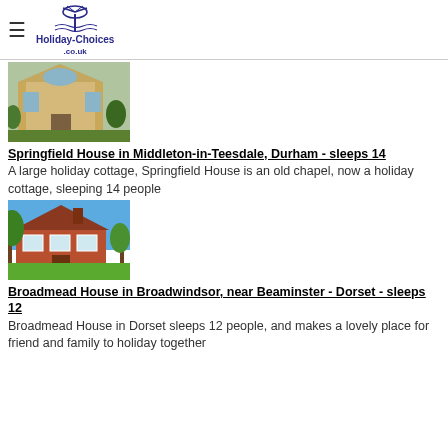Holiday-Choices.co.uk
[Figure (photo): Photo of Springfield House, a large stone building resembling an old chapel, surrounded by trees and bushes]
Springfield House in Middleton-in-Teesdale, Durham - sleeps 14
A large holiday cottage, Springfield House is an old chapel, now a holiday cottage, sleeping 14 people
[Figure (photo): Photo of Broadmead House, a red brick house with green lawn and trees in front]
Broadmead House in Broadwindsor, near Beaminster - Dorset - sleeps 12
Broadmead House in Dorset sleeps 12 people, and makes a lovely place for friend and family to holiday together